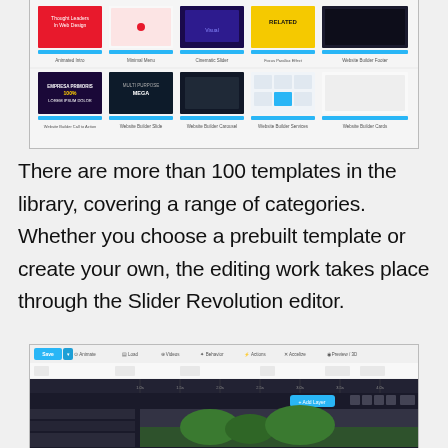[Figure (screenshot): Screenshot of a template library grid showing 10 website builder templates in two rows. Top row includes colorful slides with red, purple, blue, yellow, and dark themes with labels like 'Animated Intro', 'Minimal Menu', 'Cinematic Slider', 'Focus Parallax Effect', 'Website Builder Footer'. Bottom row shows templates labeled 'Website Builder Call to Action', 'Website Builder Slide', 'Website Builder Carousel', 'Website Builder Services', 'Website Builder Cards'.]
There are more than 100 templates in the library, covering a range of categories. Whether you choose a prebuilt template or create your own, the editing work takes place through the Slider Revolution editor.
[Figure (screenshot): Screenshot of the Slider Revolution editor interface showing a dark toolbar at the top with options like Animate, Load, Videos, Behavior, Actions, Accelize, and Preview 3D, followed by a timeline/layer editing panel below with an Add Layer button and a canvas area showing a partial scene with green foliage.]